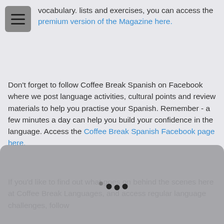vocabulary. lists and exercises, you can access the premium version of the Magazine here.
Don't forget to follow Coffee Break Spanish on Facebook where we post language activities, cultural points and review materials to help you practise your Spanish. Remember - a few minutes a day can help you build your confidence in the language. Access the Coffee Break Spanish Facebook page here.
If you'd like to find out what goes on behind the scenes here at Coffee Break Languages, and access regular language challenges, follow
[Figure (screenshot): Loading spinner overlay panel at the bottom of the screen, showing three dots in a loading animation on a grey semi-transparent panel.]